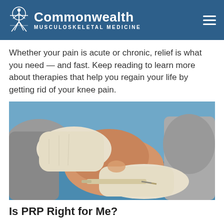Commonwealth Musculoskeletal Medicine
Whether your pain is acute or chronic, relief is what you need — and fast. Keep reading to learn more about therapies that help you regain your life by getting rid of your knee pain.
[Figure (photo): Close-up photo of a medical professional wearing white latex gloves administering an injection into a patient's knee joint. The patient is wearing a gray sleeve. The background shows a blue surface.]
Is PRP Right for Me?